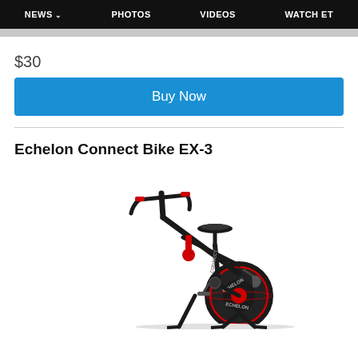NEWS  PHOTOS  VIDEOS  WATCH ET
$30
Buy Now
Echelon Connect Bike EX-3
[Figure (photo): Echelon Connect Bike EX-3 exercise bike with black and red color scheme, showing handlebars, saddle, flywheel with Echelon branding, on white background]